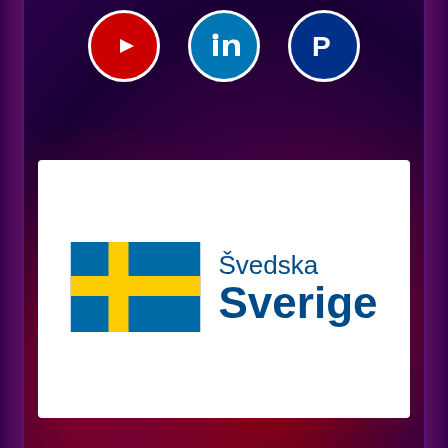[Figure (illustration): Dark purple/red gradient background with social media icons (YouTube, LinkedIn, PayPal) at top, and a white card below containing the Swedish flag and 'Švedska Sverige' logo text]
[Figure (logo): Swedish flag with yellow cross on blue background, next to text 'Švedska' and 'Sverige' in dark blue]